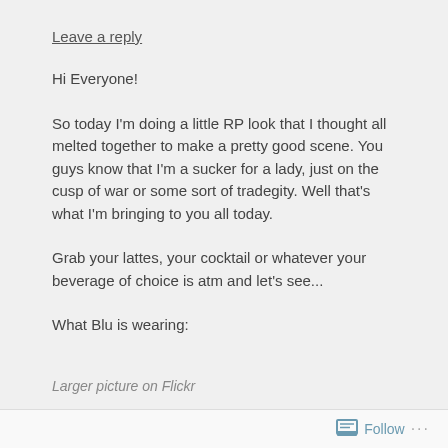Leave a reply
Hi Everyone!
So today I'm doing a little RP look that I thought all melted together to make a pretty good scene. You guys know that I'm a sucker for a lady, just on the cusp of war or some sort of tradegity. Well that's what I'm bringing to you all today.
Grab your lattes, your cocktail or whatever your beverage of choice is atm and let's see...
What Blu is wearing:
Larger picture on Flickr
Follow ...